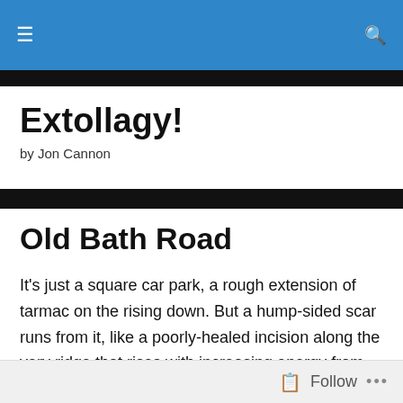Extollagy! [navigation header with hamburger menu and search icon]
Extollagy!
by Jon Cannon
Old Bath Road
It’s just a square car park, a rough extension of tarmac on the rising down. But a hump-sided scar runs from it, like a poorly-healed incision along the very ridge that rises with increasing energy from Beckhampton to Cherhill, and the bike runs clean and clear among the grassy lumps: a road made to be less travelled.
Follow